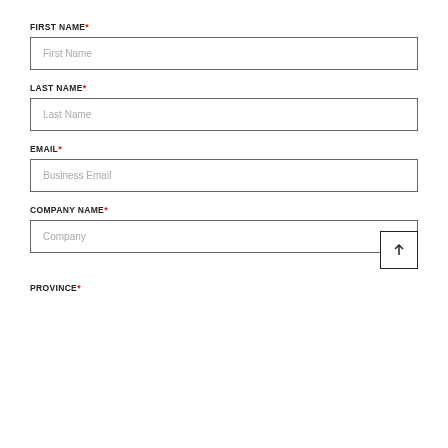FIRST NAME*
First Name
LAST NAME*
Last Name
EMAIL*
Business Email
COMPANY NAME*
Company
PROVINCE*